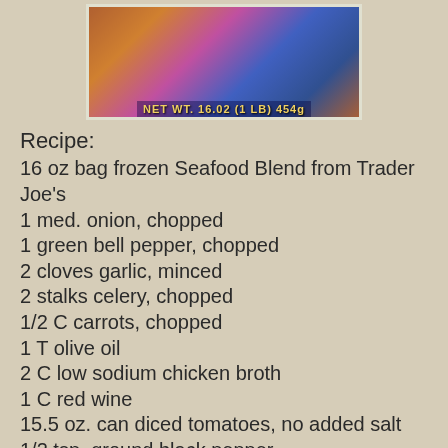[Figure (photo): Photo of a Trader Joe's frozen Seafood Blend package showing colorful packaging with text 'NET WT. 16.02 (1 LB) 454g']
Recipe:
16 oz bag frozen Seafood Blend from Trader Joe's
1 med. onion, chopped
1 green bell pepper, chopped
2 cloves garlic, minced
2 stalks celery, chopped
1/2 C carrots, chopped
1 T olive oil
2 C low sodium chicken broth
1 C red wine
15.5 oz. can diced tomatoes, no added salt
1/2 tsp. ground black pepper
1 T dried parsley flakes
1-2 tsp. (splash) hot sauce
Pinch celtic sea salt (optional)
4 T fresh Italian parsley, coarsely chopped
2 T fresh chives, chopped ... for garnish!
In olive oil, saute onion, medium heat, add bell pepper and …